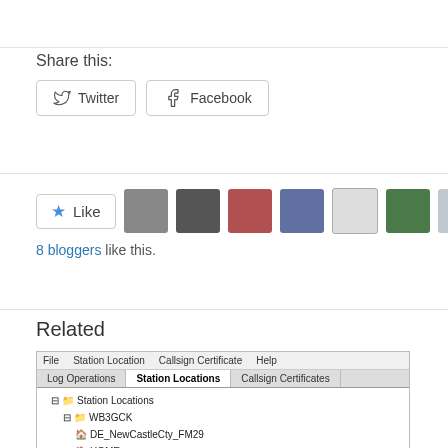Share this:
Twitter  Facebook
[Figure (screenshot): Like button with star icon and 8 blogger avatar thumbnails]
8 bloggers like this.
Related
[Figure (screenshot): Application screenshot showing Station Locations tree with WB3GCK entries including DE_NewCastleCty_FM29, HOME, MD_Cecil_FM29, MD_Frederick_FM19]